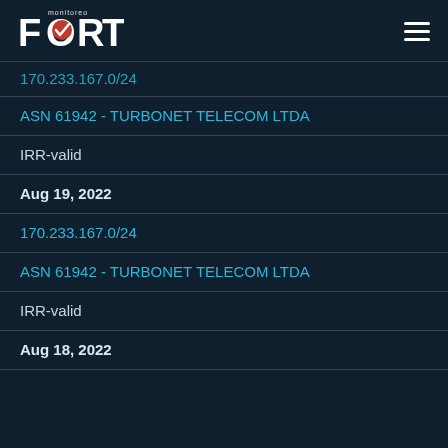[Figure (logo): Fort Monitoreo logo with checkmark on dark navy background]
170.233.167.0/24
ASN 61942 - TURBONET TELECOM LTDA
IRR-valid
Aug 19, 2022
170.233.167.0/24
ASN 61942 - TURBONET TELECOM LTDA
IRR-valid
Aug 18, 2022